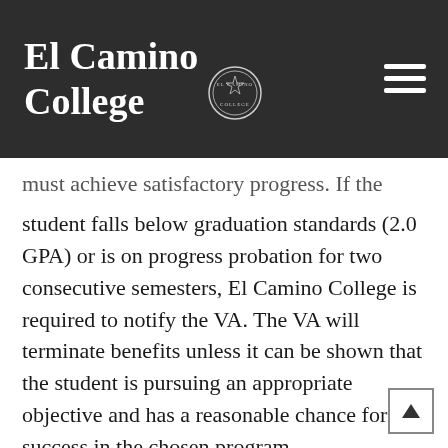El Camino College
must achieve satisfactory progress. If the student falls below graduation standards (2.0 GPA) or is on progress probation for two consecutive semesters, El Camino College is required to notify the VA. The VA will terminate benefits unless it can be shown that the student is pursuing an appropriate objective and has a reasonable chance for success in the chosen program.
Veterans with service-connected disabilities may be eligible for a special vocational rehabilitation and employment program